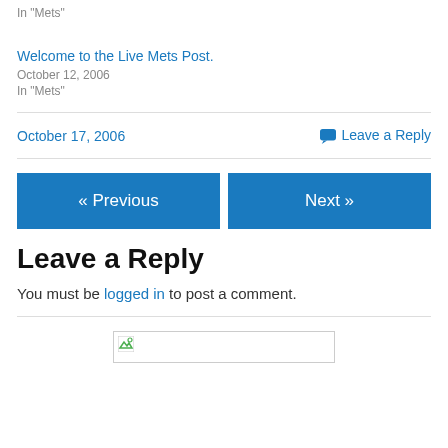In "Mets"
Welcome to the Live Mets Post.
October 12, 2006
In "Mets"
October 17, 2006
Leave a Reply
« Previous
Next »
Leave a Reply
You must be logged in to post a comment.
[Figure (other): Broken image placeholder]